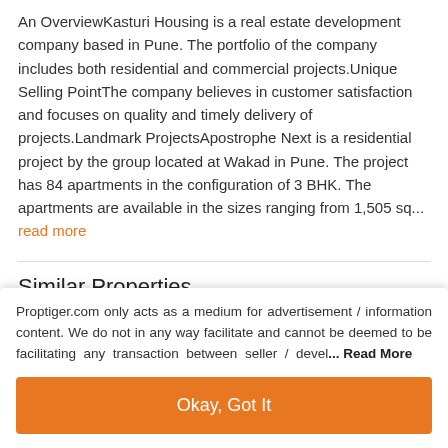An OverviewKasturi Housing is a real estate development company based in Pune. The portfolio of the company includes both residential and commercial projects.Unique Selling PointThe company believes in customer satisfaction and focuses on quality and timely delivery of projects.Landmark ProjectsApostrophe Next is a residential project by the group located at Wakad in Pune. The project has 84 apartments in the configuration of 3 BHK. The apartments are available in the sizes ranging from 1,505 sq... read more
Similar Properties
Proptiger.com only acts as a medium for advertisement / information content. We do not in any way facilitate and cannot be deemed to be facilitating any transaction between seller / devel... Read More
Okay, Got It